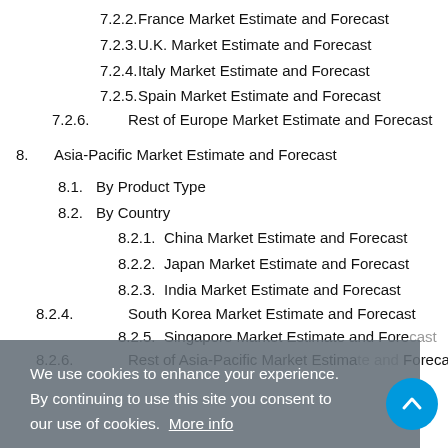7.2.2.    France Market Estimate and Forecast
7.2.3.    U.K. Market Estimate and Forecast
7.2.4.    Italy Market Estimate and Forecast
7.2.5.    Spain Market Estimate and Forecast
7.2.6.    Rest of Europe Market Estimate and Forecast
8.    Asia-Pacific Market Estimate and Forecast
8.1.    By Product Type
8.2.    By Country
8.2.1.    China Market Estimate and Forecast
8.2.2.    Japan Market Estimate and Forecast
8.2.3.    India Market Estimate and Forecast
8.2.4.    South Korea Market Estimate and Forecast
8.2.5.    Singapore Market Estimate and Forecast
8.2.6.    Rest of Asia-Pacific Market Estimate and Forecast
We use cookies to enhance your experience. By continuing to use this site you consent to our use of cookies. More info